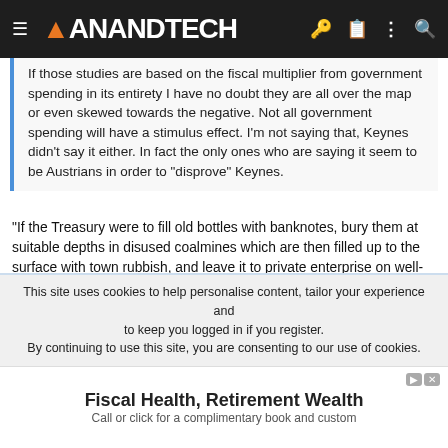AnandTech
If those studies are based on the fiscal multiplier from government spending in its entirety I have no doubt they are all over the map or even skewed towards the negative. Not all government spending will have a stimulus effect. I'm not saying that, Keynes didn't say it either. In fact the only ones who are saying it seem to be Austrians in order to "disprove" Keynes.
"If the Treasury were to fill old bottles with banknotes, bury them at suitable depths in disused coalmines which are then filled up to the surface with town rubbish, and leave it to private enterprise on well-tried principles of laissez-faire to dig the notes up again (the right to do so being obtained, of course, by tendering for leases of the note-bearing territory), there need be no more unemployment and, with the help of the repercussions, the real income of the community, and its capital wealth also, would probably become a good deal greater
This site uses cookies to help personalise content, tailor your experience and to keep you logged in if you register.
By continuing to use this site, you are consenting to our use of cookies.
Fiscal Health, Retirement Wealth
Call or click for a complimentary book and custom